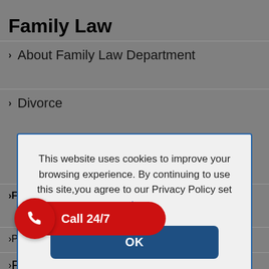Family Law
About Family Law Department
Divorce
This website uses cookies to improve your browsing experience. By continuing to use this site,you agree to our Privacy Policy set out here.
Financial Provision
Pre-nuptial Agreements
Post-nuptial Agreements